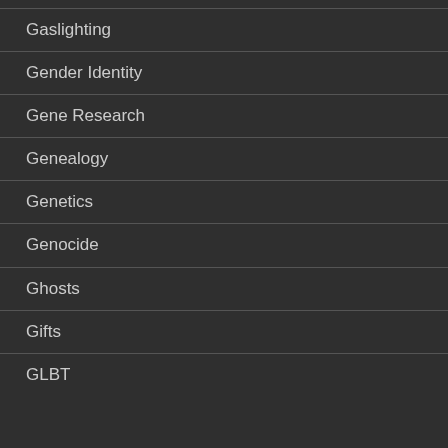Gaslighting
Gender Identity
Gene Research
Genealogy
Genetics
Genocide
Ghosts
Gifts
GLBT